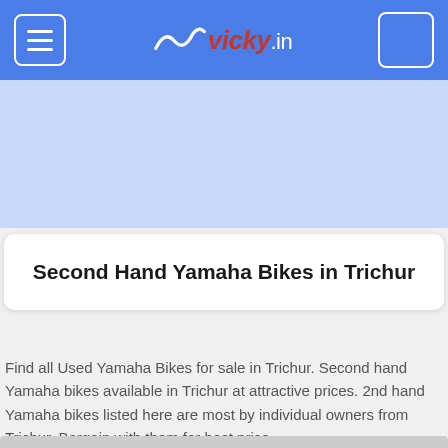vicky.in
[Figure (other): Blue advertisement/banner placeholder area]
Second Hand Yamaha Bikes in Trichur
Find all Used Yamaha Bikes for sale in Trichur. Second hand Yamaha bikes available in Trichur at attractive prices. 2nd hand Yamaha bikes listed here are most by individual owners from Trichur. Bargain with them for best price